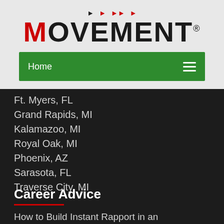[Figure (logo): MOVEMENT logo with red M, black OVEMENT text, play button arrow icons above, and registered trademark symbol]
Home
Ft. Myers, FL
Grand Rapids, MI
Kalamazoo, MI
Royal Oak, MI
Phoenix, AZ
Sarasota, FL
Traverse City, MI
Career Advice
How to Build Instant Rapport in an